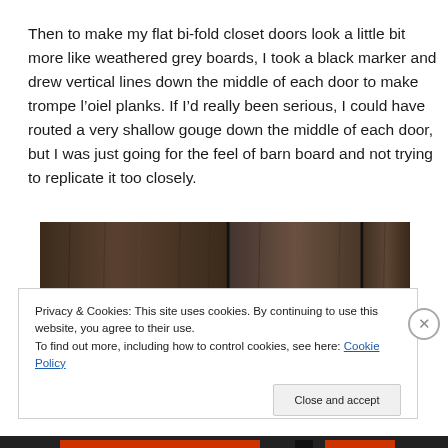Then to make my flat bi-fold closet doors look a little bit more like weathered grey boards, I took a black marker and drew vertical lines down the middle of each door to make trompe l’oiel planks. If I’d really been serious, I could have routed a very shallow gouge down the middle of each door, but I was just going for the feel of barn board and not trying to replicate it too closely.
[Figure (photo): Close-up photo of dark weathered wood boards with vertical grain lines, showing bi-fold closet door panels painted to look like barn board planks.]
Privacy & Cookies: This site uses cookies. By continuing to use this website, you agree to their use.
To find out more, including how to control cookies, see here: Cookie Policy
Close and accept